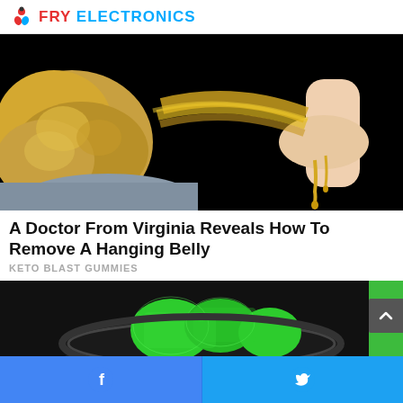FRY ELECTRONICS
[Figure (photo): A close-up photo of an overweight person's belly with fibrous fat being pulled away, dripping yellow liquid, against a black background]
A Doctor From Virginia Reveals How To Remove A Hanging Belly
KETO BLAST GUMMIES
[Figure (photo): Green gummy candies in a round container, partially showing against a black background with a green background on the right]
Facebook share | Twitter share